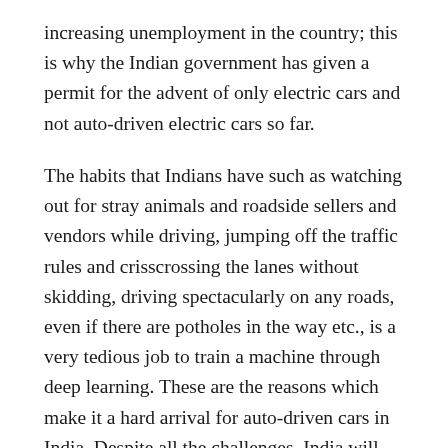increasing unemployment in the country; this is why the Indian government has given a permit for the advent of only electric cars and not auto-driven electric cars so far.
The habits that Indians have such as watching out for stray animals and roadside sellers and vendors while driving, jumping off the traffic rules and crisscrossing the lanes without skidding, driving spectacularly on any roads, even if there are potholes in the way etc., is a very tedious job to train a machine through deep learning. These are the reasons which make it a hard arrival for auto-driven cars in India. Despite all the challenges, India will indeed develop alternates within a decade or two to move forward with the world and emerging technologies. And that's because it has the capability. People would then be cherishing for the advent of auto-driven cars in India with open arms.
(partial text visible at bottom)